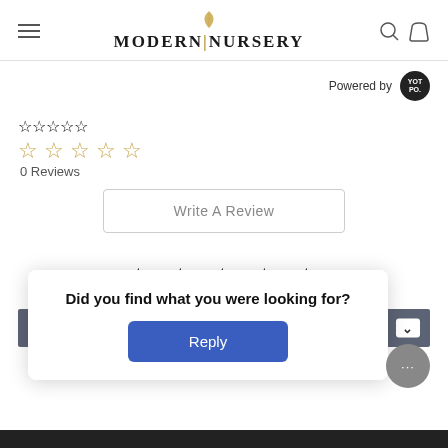MODERN NURSERY
Powered by YOTPO
[Figure (other): Five empty gold star rating icons]
0 Reviews
Write A Review
[Figure (other): Five solid black star icons]
BE THE FIRST TO WRITE A REVIEW
Did you find what you were looking for?
Reply